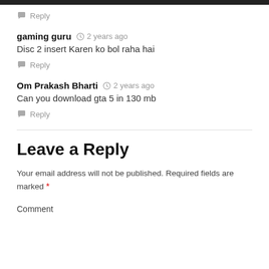Reply
gaming guru  2 years ago
Disc 2 insert Karen ko bol raha hai
Reply
Om Prakash Bharti  2 years ago
Can you download gta 5 in 130 mb
Reply
Leave a Reply
Your email address will not be published. Required fields are marked *
Comment